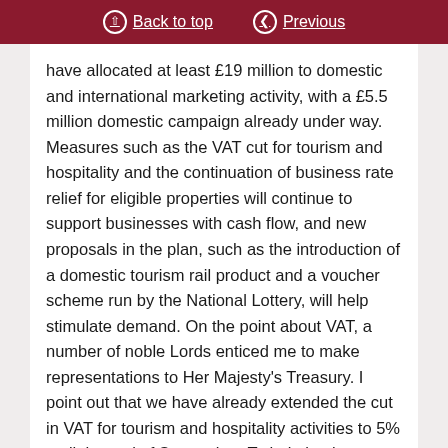Back to top | Previous
have allocated at least £19 million to domestic and international marketing activity, with a £5.5 million domestic campaign already under way. Measures such as the VAT cut for tourism and hospitality and the continuation of business rate relief for eligible properties will continue to support businesses with cash flow, and new proposals in the plan, such as the introduction of a domestic tourism rail product and a voucher scheme run by the National Lottery, will help stimulate demand. On the point about VAT, a number of noble Lords enticed me to make representations to Her Majesty's Treasury. I point out that we have already extended the cut in VAT for tourism and hospitality activities to 5% until the end of September. To help businesses manage the transition back to the standard rate of 12.5%...